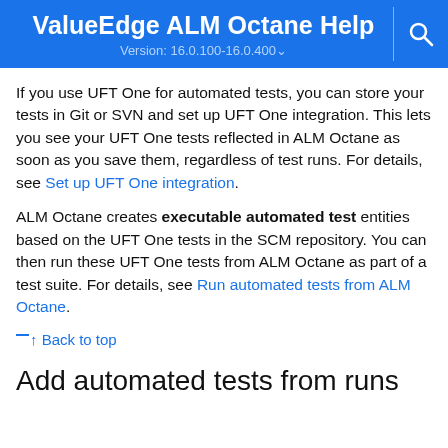ValueEdge ALM Octane Help Version: 16.0.100-16.0.400
If you use UFT One for automated tests, you can store your tests in Git or SVN and set up UFT One integration. This lets you see your UFT One tests reflected in ALM Octane as soon as you save them, regardless of test runs. For details, see Set up UFT One integration.
ALM Octane creates executable automated test entities based on the UFT One tests in the SCM repository. You can then run these UFT One tests from ALM Octane as part of a test suite. For details, see Run automated tests from ALM Octane.
↑ Back to top
Add automated tests from runs